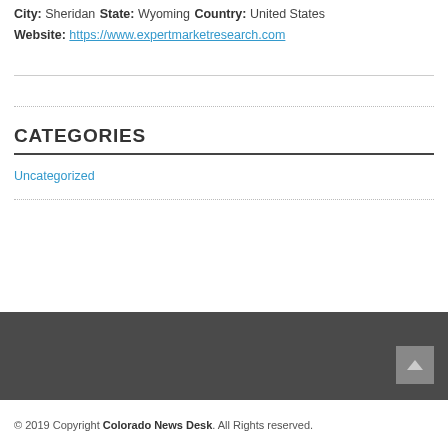City: Sheridan
State: Wyoming
Country: United States
Website: https://www.expertmarketresearch.com
CATEGORIES
Uncategorized
© 2019 Copyright Colorado News Desk. All Rights Reserved.